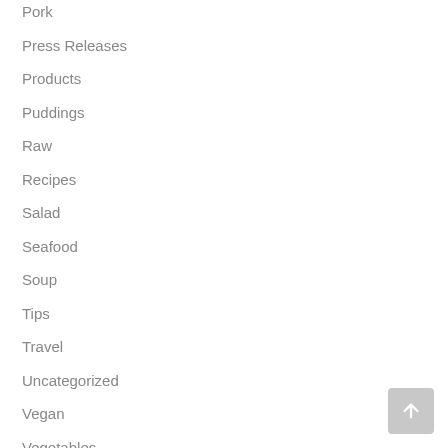Pork
Press Releases
Products
Puddings
Raw
Recipes
Salad
Seafood
Soup
Tips
Travel
Uncategorized
Vegan
Vegetables
Venison
Video